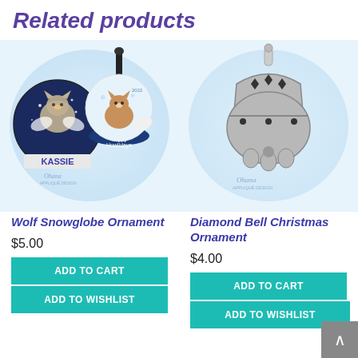Related products
[Figure (photo): Wolf Snowglobe Ornament product image showing a circular pet ornament with 'KASSIE' text and a round snow globe ornament with a wolf/fox and 'Happy Howlidays' text, with Ohana Applique Design watermark, on a snowy blue background.]
[Figure (photo): Diamond Bell Christmas Ornament product image showing a glittery silver jingle bell shaped ornament with diamond cutouts, with Ohana Applique Design watermark, on a snowy blue background.]
Wolf Snowglobe Ornament
$5.00
ADD TO CART
ADD TO WISHLIST
Diamond Bell Christmas Ornament
$4.00
ADD TO CART
ADD TO WISHLIST